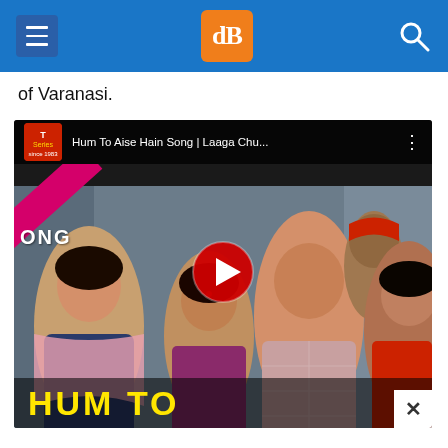dPS navigation bar with hamburger menu, dP logo, and search icon
of Varanasi.
[Figure (screenshot): YouTube video thumbnail showing the song 'Hum To Aise Hain Song | Laaga Chu...' from a Bollywood film. Several people laughing joyfully together. Red YouTube play button in center. Yellow text 'HUM TO' at bottom. Pink diagonal SONG banner on left. Close X button bottom right.]